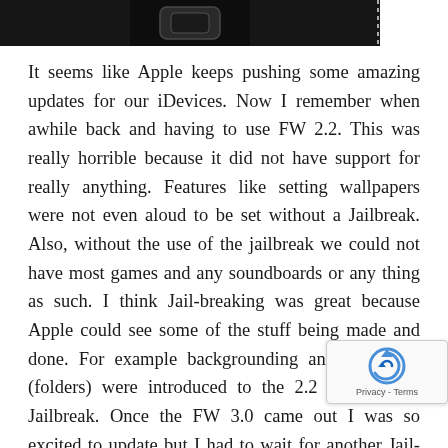[Figure (screenshot): Dark/black banner image at the top of the page showing what appears to be a belt buckle or device button on a black background with dotted borders on the right side.]
It seems like Apple keeps pushing some amazing updates for our iDevices. Now I remember when awhile back and having to use FW 2.2. This was really horrible because it did not have support for really anything. Features like setting wallpapers were not even aloud to be set without a Jailbreak. Also, without the use of the jailbreak we could not have most games and any soundboards or any thing as such. I think Jail-breaking was great because Apple could see some of the stuff being made and done. For example backgrounding and categories (folders) were introduced to the 2.2 OS using a Jailbreak. Once the FW 3.0 came out I was so excited to update but I had to wait for another Jail-break to come out so I can keep all the cool features I had on my iPhone. FW 3.0 introduced so many features it was a must upgrade kind of thing. After the launch of iOS 4.0 all of these features talking about were included in the platform. Other fea also included the ability to tether and a lot of other things
[Figure (other): reCAPTCHA widget overlay in bottom right corner showing the reCAPTCHA logo and Privacy - Terms text]